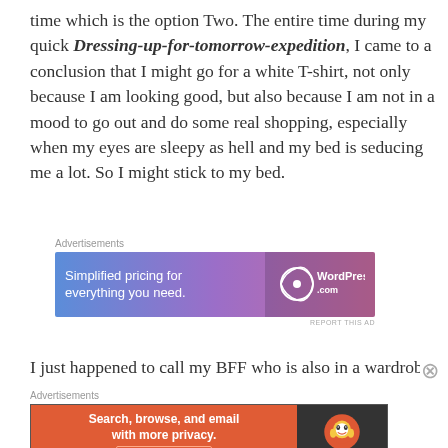time which is the option Two. The entire time during my quick Dressing-up-for-tomorrow-expedition, I came to a conclusion that I might go for a white T-shirt, not only because I am looking good, but also because I am not in a mood to go out and do some real shopping, especially when my eyes are sleepy as hell and my bed is seducing me a lot. So I might stick to my bed.
[Figure (other): WordPress.com advertisement banner: 'Simplified pricing for everything you need.' with WordPress logo]
I just happened to call my BFF who is also in a wardrobe
[Figure (other): DuckDuckGo advertisement banner: 'Search, browse, and email with more privacy. All in One Free App' with DuckDuckGo logo]